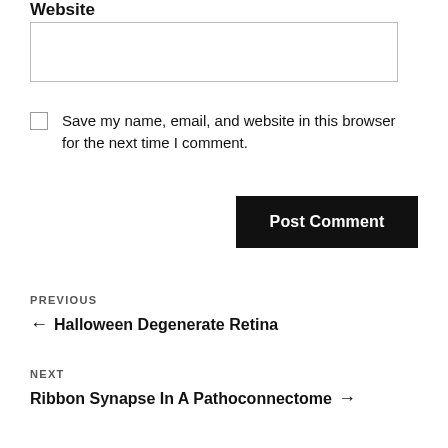Website
Save my name, email, and website in this browser for the next time I comment.
Post Comment
PREVIOUS
← Halloween Degenerate Retina
NEXT
Ribbon Synapse In A Pathoconnectome →